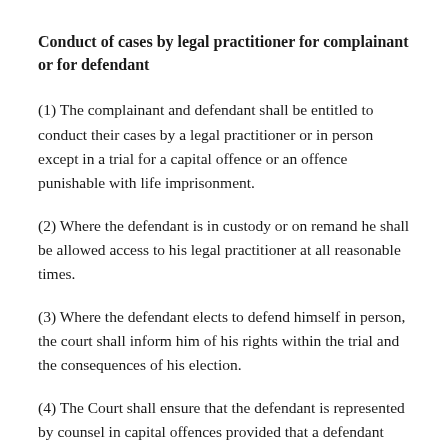Conduct of cases by legal practitioner for complainant or for defendant
(1) The complainant and defendant shall be entitled to conduct their cases by a legal practitioner or in person except in a trial for a capital offence or an offence punishable with life imprisonment.
(2) Where the defendant is in custody or on remand he shall be allowed access to his legal practitioner at all reasonable times.
(3) Where the defendant elects to defend himself in person, the court shall inform him of his rights within the trial and the consequences of his election.
(4) The Court shall ensure that the defendant is represented by counsel in capital offences provided that a defendant who refuses to be represented by counsel shall, after being